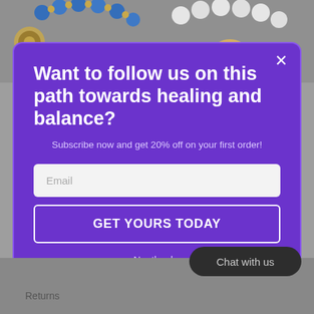[Figure (photo): Background showing jewelry items - blue bead necklace with pendant on left, white bead/hoop earrings on right, on gray background]
Want to follow us on this path towards healing and balance?
Subscribe now and get 20% off on your first order!
Email
GET YOURS TODAY
No, thanks
Chat with us
Returns